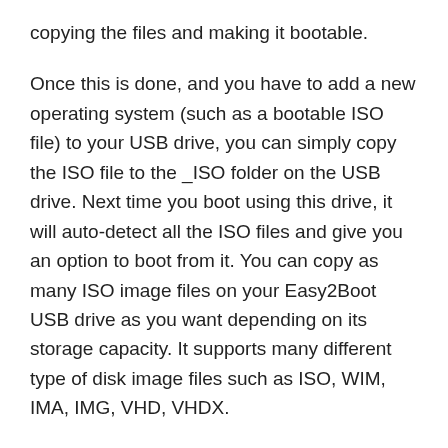copying the files and making it bootable.
Once this is done, and you have to add a new operating system (such as a bootable ISO file) to your USB drive, you can simply copy the ISO file to the _ISO folder on the USB drive. Next time you boot using this drive, it will auto-detect all the ISO files and give you an option to boot from it. You can copy as many ISO image files on your Easy2Boot USB drive as you want depending on its storage capacity. It supports many different type of disk image files such as ISO, WIM, IMA, IMG, VHD, VHDX.
Easy2Boot allows you to test your USB drive using Qemu virtualization software so that you do not have to actually boot using your USB drive. For this, you should install Qemu on your PC, launch Easy2Boot and choose the